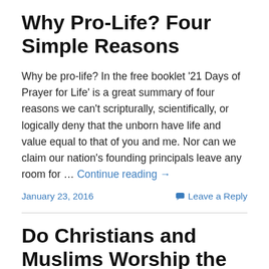Why Pro-Life? Four Simple Reasons
Why be pro-life? In the free booklet '21 Days of Prayer for Life' is a great summary of four reasons we can't scripturally, scientifically, or logically deny that the unborn have life and value equal to that of you and me. Nor can we claim our nation's founding principals leave any room for … Continue reading →
January 23, 2016 | Leave a Reply
Do Christians and Muslims Worship the Same God? (That Hangs on Who He is.)